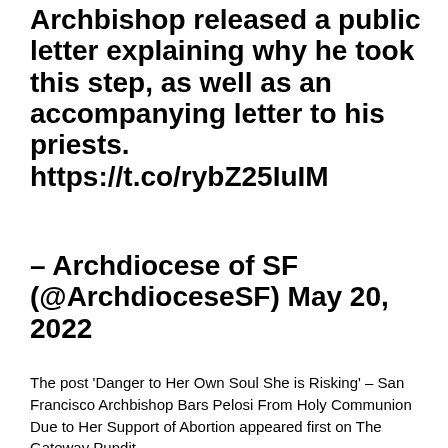Archbishop released a public letter explaining why he took this step, as well as an accompanying letter to his priests. https://t.co/rybZ25IuIM
– Archdiocese of SF (@ArchdioceseSF) May 20, 2022
The post 'Danger to Her Own Soul She is Risking' – San Francisco Archbishop Bars Pelosi From Holy Communion Due to Her Support of Abortion appeared first on The Gateway Pundit.